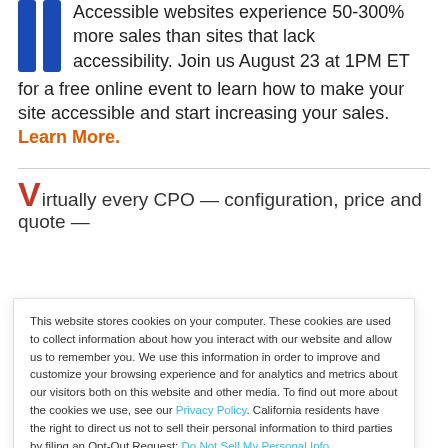[Figure (other): Two vertical blue bar icons (like a pause button) representing accessibility/stats visual]
Accessible websites experience 50-300% more sales than sites that lack accessibility. Join us August 23 at 1PM ET for a free online event to learn how to make your site accessible and start increasing your sales. Learn More.
Virtually every CPO — configuration, price and quote —
This website stores cookies on your computer. These cookies are used to collect information about how you interact with our website and allow us to remember you. We use this information in order to improve and customize your browsing experience and for analytics and metrics about our visitors both on this website and other media. To find out more about the cookies we use, see our Privacy Policy. California residents have the right to direct us not to sell their personal information to third parties by filing an Opt-Out Request: Do Not Sell My Personal Info.
Accept